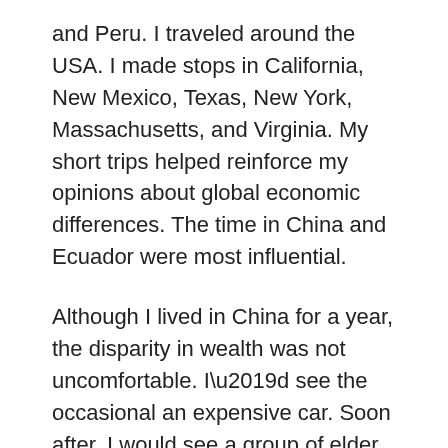and Peru. I traveled around the USA. I made stops in California, New Mexico, Texas, New York, Massachusetts, and Virginia. My short trips helped reinforce my opinions about global economic differences. The time in China and Ecuador were most influential.
Although I lived in China for a year, the disparity in wealth was not uncomfortable. I'd see the occasional an expensive car. Soon after, I would see a group of elder woman picking up recycling materials. The dichotomy of capital was obvious. I lived there, so I didn't take it to heart. By the end of my time, I felt at home. I found the places I liked to eat, the friends I spent time with, and the tasks